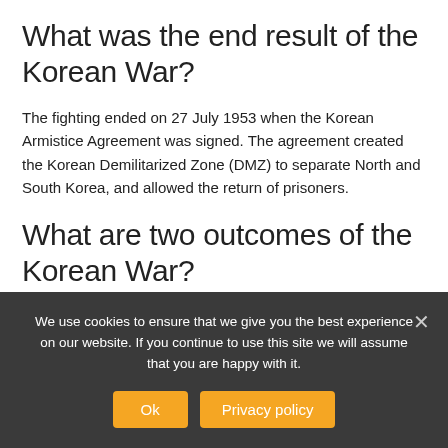What was the end result of the Korean War?
The fighting ended on 27 July 1953 when the Korean Armistice Agreement was signed. The agreement created the Korean Demilitarized Zone (DMZ) to separate North and South Korea, and allowed the return of prisoners.
What are two outcomes of the Korean War?
No real winner emerged victorious from the Korean War. The Soviet Union and China succeeded in
We use cookies to ensure that we give you the best experience on our website. If you continue to use this site we will assume that you are happy with it.